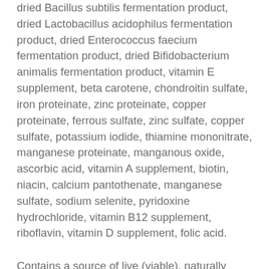dried Bacillus subtilis fermentation product, dried Lactobacillus acidophilus fermentation product, dried Enterococcus faecium fermentation product, dried Bifidobacterium animalis fermentation product, vitamin E supplement, beta carotene, chondroitin sulfate, iron proteinate, zinc proteinate, copper proteinate, ferrous sulfate, zinc sulfate, copper sulfate, potassium iodide, thiamine mononitrate, manganese proteinate, manganous oxide, ascorbic acid, vitamin A supplement, biotin, niacin, calcium pantothenate, manganese sulfate, sodium selenite, pyridoxine hydrochloride, vitamin B12 supplement, riboflavin, vitamin D supplement, folic acid.
Contains a source of live (viable), naturally occurring microorganisms.
GUARANTEED ANALYSIS